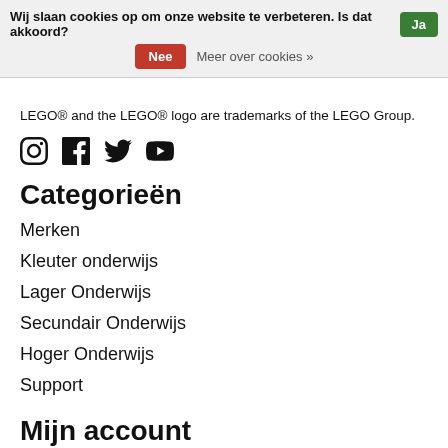Wij slaan cookies op om onze website te verbeteren. Is dat akkoord? Ja
Nee  Meer over cookies »
LEGO® and the LEGO® logo are trademarks of the LEGO Group.
[Figure (other): Social media icons: Instagram, Facebook, Twitter, YouTube]
Categorieën
Merken
Kleuter onderwijs
Lager Onderwijs
Secundair Onderwijs
Hoger Onderwijs
Support
Mijn account
Registreren